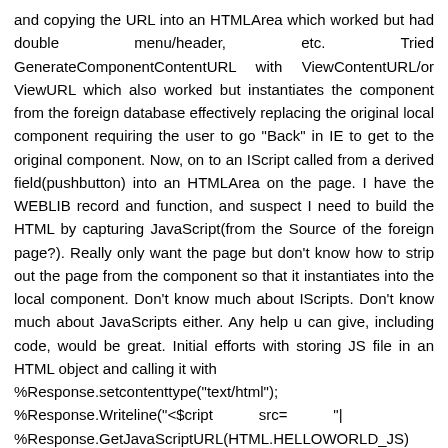and copying the URL into an HTMLArea which worked but had double menu/header, etc. Tried GenerateComponentContentURL with ViewContentURL/or ViewURL which also worked but instantiates the component from the foreign database effectively replacing the original local component requiring the user to go "Back" in IE to get to the original component. Now, on to an IScript called from a derived field(pushbutton) into an HTMLArea on the page. I have the WEBLIB record and function, and suspect I need to build the HTML by capturing JavaScript(from the Source of the foreign page?). Really only want the page but don't know how to strip out the page from the component so that it instantiates into the local component. Don't know much about IScripts. Don't know much about JavaScripts either. Any help u can give, including code, would be great. Initial efforts with storing JS file in an HTML object and calling it with
%Response.setcontenttype("text/html");
%Response.Writeline("<$cript          src=           "|
%Response.GetJavaScriptURL(HTML.HELLOWORLD_JS)
">");
(example from Peoplebooks) failed with "not available in